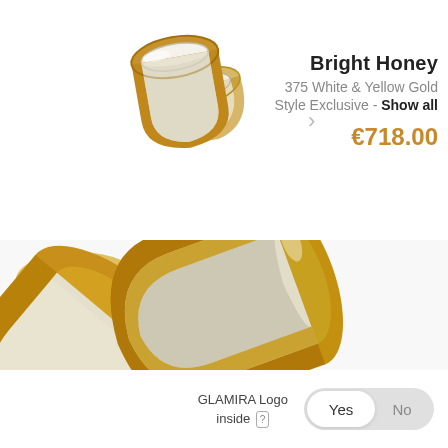[Figure (photo): Thumbnail image of two wedding rings in white and yellow gold, stacked, small view]
Bright Honey
375 White & Yellow Gold
Style Exclusive - Show all
€718.00
[Figure (photo): Large close-up product image of two wedding rings in white and yellow gold (Bright Honey style), showing detailed texture with yellow gold edges and white/silver center stripe]
GLAMIRA Logo inside [?]
Yes  No